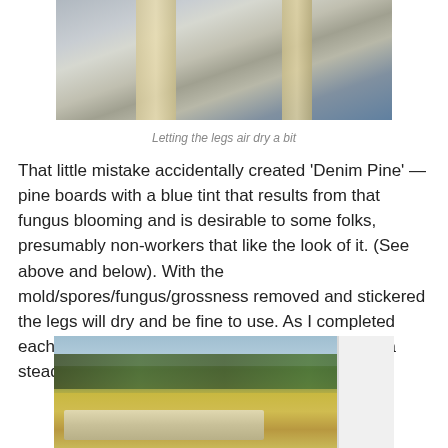[Figure (photo): Close-up photo of wooden planks/legs air drying, with a blue-gray speckled background (possibly concrete or gravel)]
Letting the legs air dry a bit
That little mistake accidentally created 'Denim Pine' — pine boards with a blue tint that results from that fungus blooming and is desirable to some folks, presumably non-workers that like the look of it. (See above and below). With the mold/spores/fungus/grossness removed and stickered the legs will dry and be fine to use. As I completed each horse it will live out side where it can dry at a steady rate until the barn gets finished.
[Figure (photo): Outdoor photo showing a yard with trees in the background, yellow-brown grass, and lumber/boards stacked in the foreground, with white siding visible on the right edge]